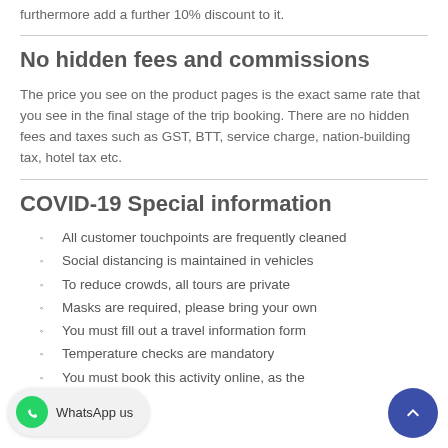furthermore add a further 10% discount to it.
No hidden fees and commissions
The price you see on the product pages is the exact same rate that you see in the final stage of the trip booking. There are no hidden fees and taxes such as GST, BTT, service charge, nation-building tax, hotel tax etc.
COVID-19 Special information
All customer touchpoints are frequently cleaned
Social distancing is maintained in vehicles
To reduce crowds, all tours are private
Masks are required, please bring your own
You must fill out a travel information form
Temperature checks are mandatory
You must book this activity online, as the